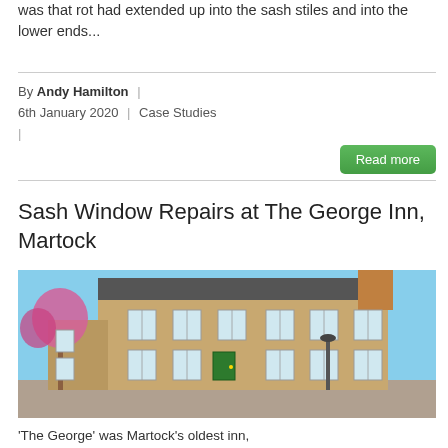was that rot had extended up into the sash stiles and into the lower ends...
By Andy Hamilton | 6th January 2020 | Case Studies |
Read more
Sash Window Repairs at The George Inn, Martock
[Figure (photo): Exterior photograph of The George Inn in Martock, a two-storey stone building with sash windows, a green front door, and a flowering cherry tree to the left.]
'The George' was Martock's oldest inn,